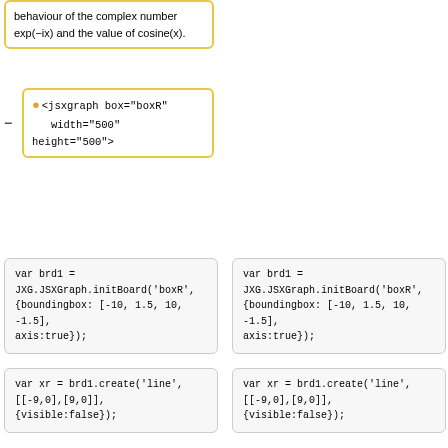behaviour of the complex number exp(−ix) and the value of cosine(x).
and observe the behaviour of the complex number exp(−ix) and the varying value of cosine(x).
<jsxgraph box="boxR" width="500" height="500">
{|
|Cosine
|Unit Circle on the Complex Plane
|-
| <jsxgraph box="boxR" width="500" height="500">
var brd1 = JXG.JSXGraph.initBoard('boxR', {boundingbox: [-10, 1.5, 10, -1.5], axis:true});
var brd1 = JXG.JSXGraph.initBoard('boxR', {boundingbox: [-10, 1.5, 10, -1.5], axis:true});
var xr = brd1.create('line', [[-9,0],[9,0]],{visible:false});
var xr = brd1.create('line', [[-9,0],[9,0]],{visible:false});